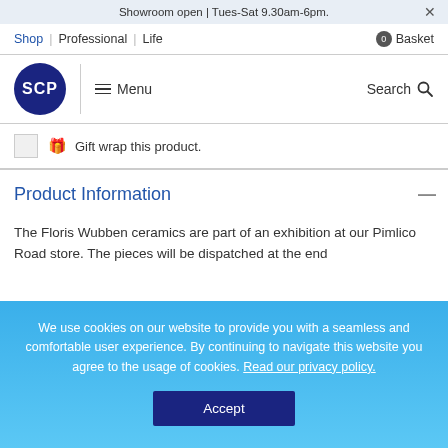Showroom open | Tues-Sat 9.30am-6pm.
Shop | Professional | Life  0 Basket
[Figure (logo): SCP circular dark blue logo with white text 'SCP']
≡ Menu
Search 🔍
Gift wrap this product.
Product Information
The Floris Wubben ceramics are part of an exhibition at our Pimlico Road store. The pieces will be dispatched at the end
We use cookies on our website to provide you with a seamless and comfortable user experience. By continuing to navigate this website you agree to the usage of cookies. Read our privacy policy.
Accept